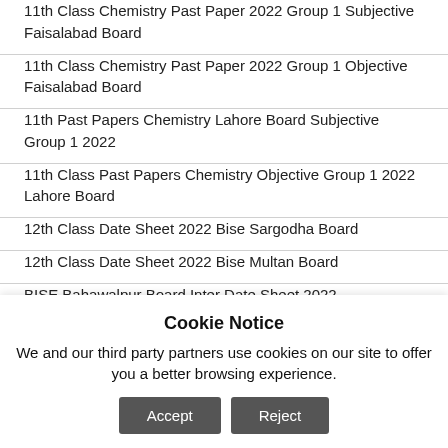11th Class Chemistry Past Paper 2022 Group 1 Subjective Faisalabad Board
11th Class Chemistry Past Paper 2022 Group 1 Objective Faisalabad Board
11th Past Papers Chemistry Lahore Board Subjective Group 1 2022
11th Class Past Papers Chemistry Objective Group 1 2022 Lahore Board
12th Class Date Sheet 2022 Bise Sargodha Board
12th Class Date Sheet 2022 Bise Multan Board
BISE Bahawalpur Board Inter Date Sheet 2022
9th Class Past Papers Urdu Compulsory Objective Group 2
Cookie Notice
We and our third party partners use cookies on our site to offer you a better browsing experience.